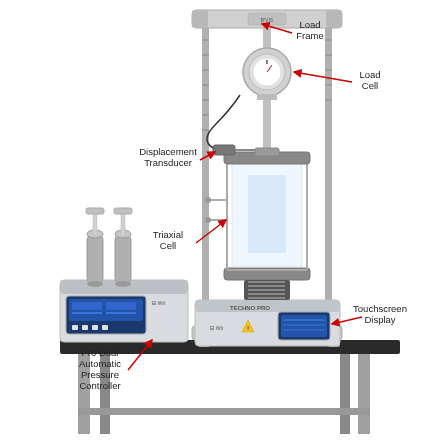[Figure (engineering-diagram): Triaxial testing apparatus on a lab bench. The apparatus consists of a Load Frame (top cross-member with threaded rods), a Load Cell (circular gauge at the top of the cell), a Displacement Transducer (sensor attached to the side of the triaxial cell), a Triaxial Cell (clear cylindrical pressure chamber in the center), a Touchscreen Display (on the base unit to the right), and a Pro Dual Automatic Pressure Controller (separate unit on the left with two cylinders and a digital display panel). All components are labeled with red arrows pointing to their respective parts. The equipment sits on a sturdy metal-legged black bench.]